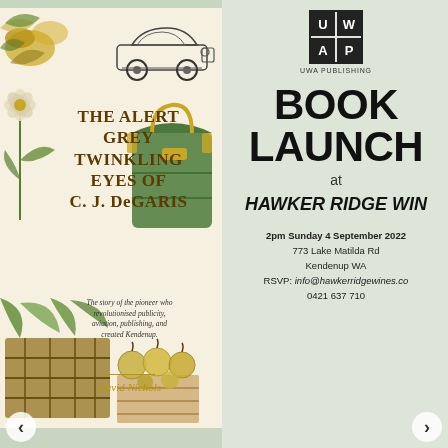[Figure (illustration): Book cover for 'The Alert Grey Twinkling Eyes of C. J. DeGaris' by David Nichols, published by UWA Publishing, featuring vintage illustrations of fruit, a car, flowers, a bag, a crate, and apples on a cream background.]
[Figure (logo): UWA Publishing logo — 2x2 grid with U, W, A, P in black squares, with 'UWA PUBLISHING' text below]
BOOK LAUNCH
at
HAWKER RIDGE WINES
2pm Sunday 4 September 2022
773 Lake Matilda Rd
Kendenup WA
RSVP: info@hawkerridgewines.com.au
0421 637 710